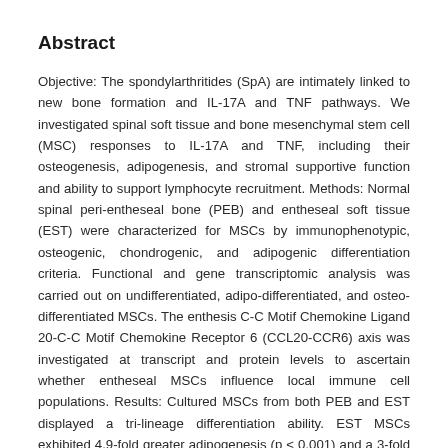Abstract
Objective: The spondylarthritides (SpA) are intimately linked to new bone formation and IL-17A and TNF pathways. We investigated spinal soft tissue and bone mesenchymal stem cell (MSC) responses to IL-17A and TNF, including their osteogenesis, adipogenesis, and stromal supportive function and ability to support lymphocyte recruitment. Methods: Normal spinal peri-entheseal bone (PEB) and entheseal soft tissue (EST) were characterized for MSCs by immunophenotypic, osteogenic, chondrogenic, and adipogenic differentiation criteria. Functional and gene transcriptomic analysis was carried out on undifferentiated, adipo-differentiated, and osteo-differentiated MSCs. The enthesis C-C Motif Chemokine Ligand 20-C-C Motif Chemokine Receptor 6 (CCL20-CCR6) axis was investigated at transcript and protein levels to ascertain whether entheseal MSCs influence local immune cell populations. Results: Cultured MSCs from both PEB and EST displayed a tri-lineage differentiation ability. EST MSCs exhibited 4.9-fold greater adipogenesis (p < 0.001) and a 3-fold lower osteogenic capacity (p < 0.05). IL-17A induced osteogenic suppression in PEB MSCs compared to EST MSCs. IL-